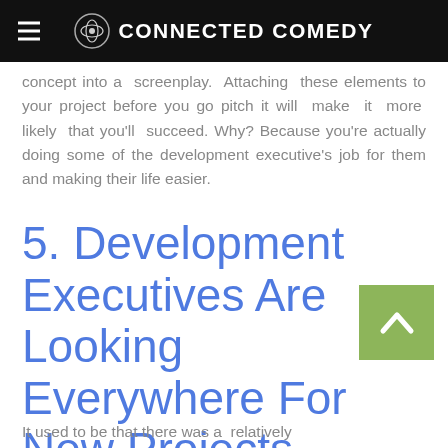CONNECTED COMEDY
concept into a screenplay. Attaching these elements to your project before you go pitch it will make it more likely that you'll succeed. Why? Because you're actually doing some of the development executive's job for them and making their life easier.
5. Development Executives Are Looking Everywhere For New Projects
It used to be that there was a relatively